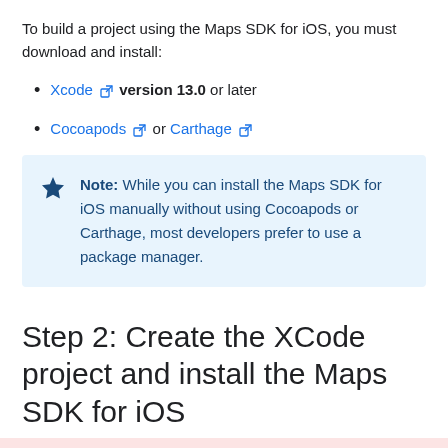To build a project using the Maps SDK for iOS, you must download and install:
Xcode [external link] version 13.0 or later
Cocoapods [external link] or Carthage [external link]
Note: While you can install the Maps SDK for iOS manually without using Cocoapods or Carthage, most developers prefer to use a package manager.
Step 2: Create the XCode project and install the Maps SDK for iOS